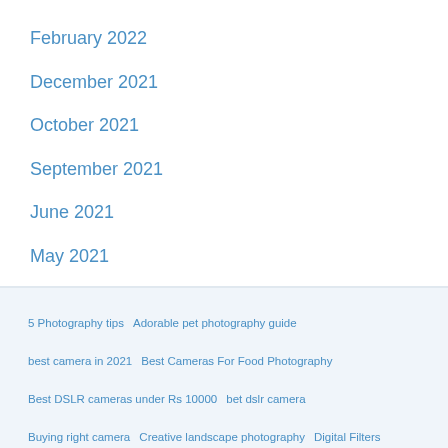February 2022
December 2021
October 2021
September 2021
June 2021
May 2021
5 Photography tips   Adorable pet photography guide   best camera in 2021   Best Cameras For Food Photography   Best DSLR cameras under Rs 10000   bet dslr camera   Buying right camera   Creative landscape photography   Digital Filters   dslr   DSLR camera
dslr   DSLR camera